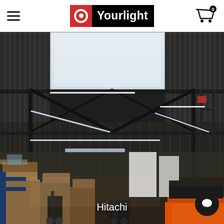[Figure (logo): Yourlight brand logo — red square with white circle icon, black rectangle with white 'Yourlight' text]
[Figure (photo): Interior of a warehouse or industrial facility lit by LED linear tube lights mounted on dark steel ceiling structure. Ground floor shows boxes, pallets, forklifts and industrial equipment. Caption 'Hitachi' overlaid at bottom center. Chat bubble icon at bottom right.]